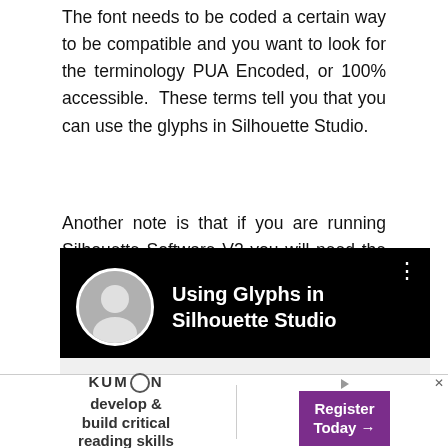The font needs to be coded a certain way to be compatible and you want to look for the terminology PUA Encoded, or 100% accessible.  These terms tell you that you can use the glyphs in Silhouette Studio.
Another note is that if you are running Silhouette Software V2 you will need the Designer Edition software to do this.  Most users are on the current version, V3 which you can use the basic or upgraded versions to add glyphs.  If you aren't on V3 you can update your software for free to gain this functionality.
[Figure (screenshot): Video thumbnail showing 'Using Glyphs in Silhouette Studio' with a circular avatar photo of a woman on the left and the title text in white on a black background, with a three-dot menu icon on the right.]
[Figure (screenshot): Kumon advertisement banner with logo on the left reading 'develop & build critical reading skills' and a purple 'Register Today' button on the right with a play/forward arrow icon.]